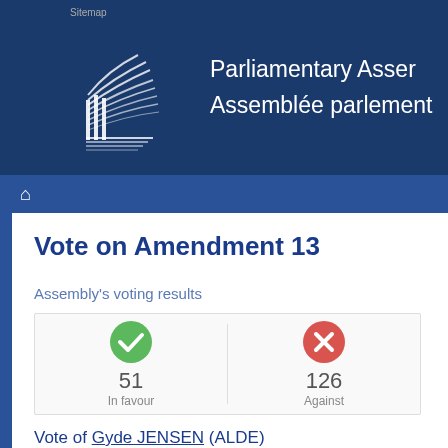Sitemap
[Figure (logo): Parliamentary Assembly / Assemblée parlementaire logo with stylized building/columns graphic in white on dark blue background]
Vote on Amendment  13
Assembly's voting results
| In favour | Against |
| --- | --- |
| 51 | 126 |
Vote of Gyde JENSEN (ALDE)